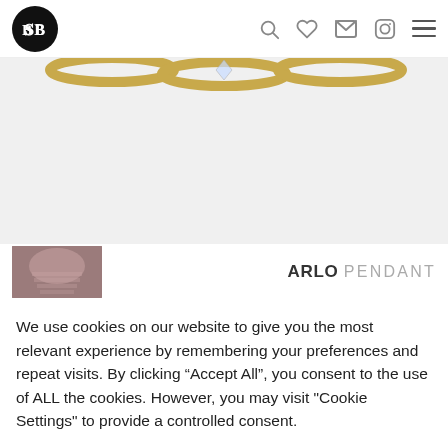BB logo navigation header with search, heart, mail, instagram, and menu icons
[Figure (photo): Three gold rings displayed partially at top of image area against light grey background]
[Figure (photo): Small thumbnail image showing product preview in mauve/rose tones]
ARLO PENDANT
We use cookies on our website to give you the most relevant experience by remembering your preferences and repeat visits. By clicking “Accept All”, you consent to the use of ALL the cookies. However, you may visit "Cookie Settings" to provide a controlled consent.
Cookie Settings
Accept All